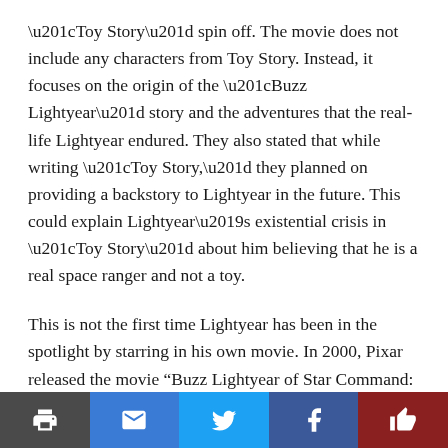“Toy Story” spin off. The movie does not include any characters from Toy Story. Instead, it focuses on the origin of the “Buzz Lightyear” story and the adventures that the real-life Lightyear endured. They also stated that while writing “Toy Story,” they planned on providing a backstory to Lightyear in the future. This could explain Lightyear’s existential crisis in “Toy Story” about him believing that he is a real space ranger and not a toy.
This is not the first time Lightyear has been in the spotlight by starring in his own movie. In 2000, Pixar released the movie “Buzz Lightyear of Star Command: The Adventure Begins.” This movie focused on Lightyears’s ongoing battle with his nemesis the evil Emperor Zurg. The 70-minute animated movie received a lot less positive reviews than “Toy Story,” which was loved by many fans. A cartoon series called “Buzz Lightyear of Star Command” was later
share bar: print, email, twitter, facebook, like